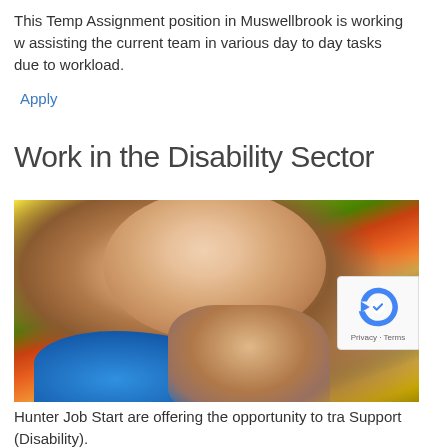This Temp Assignment position in Muswellbrook is working w assisting the current team in various day to day tasks due to workload.
Apply
Work in the Disability Sector
[Figure (photo): A smiling person looking upward with colorful autumn foliage in the background, with another person's hands clasped over theirs; the person is wearing a blue top.]
Hunter Job Start are offering the opportunity to tra Support (Disability).